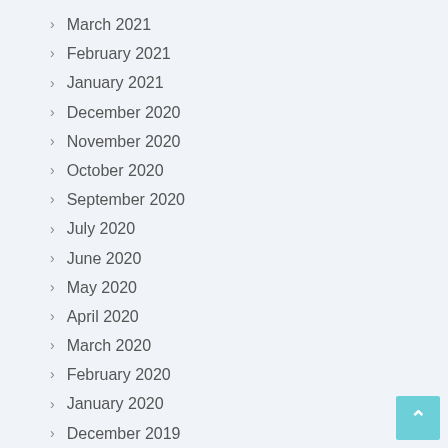March 2021
February 2021
January 2021
December 2020
November 2020
October 2020
September 2020
July 2020
June 2020
May 2020
April 2020
March 2020
February 2020
January 2020
December 2019
November 2019